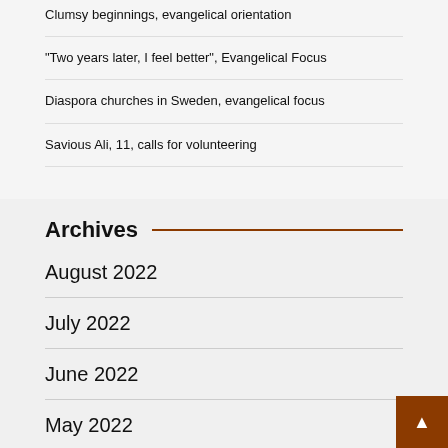Clumsy beginnings, evangelical orientation
“Two years later, I feel better”, Evangelical Focus
Diaspora churches in Sweden, evangelical focus
Savious Ali, 11, calls for volunteering
Archives
August 2022
July 2022
June 2022
May 2022